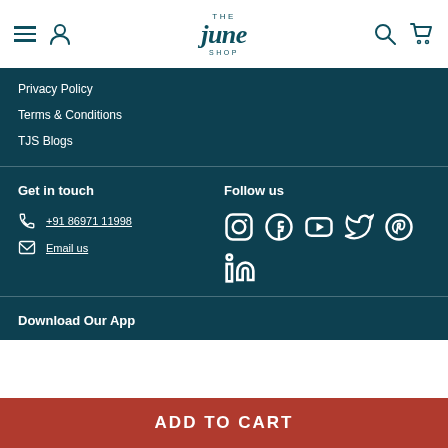The June Shop — navigation header with logo, menu, user, search, and cart icons
Privacy Policy
Terms & Conditions
TJS Blogs
Get in touch
+91 86971 11998
Email us
Follow us
[Figure (infographic): Social media icons: Instagram, Facebook, YouTube, Twitter, Pinterest, LinkedIn]
Download Our App
ADD TO CART